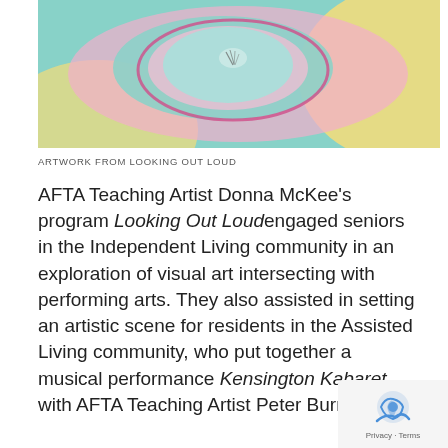[Figure (illustration): Abstract colorful swirling artwork with teal, pink, magenta, yellow, and light blue spiral shapes on a pastel background, resembling a painted eye or snail shell. Title artwork from Looking Out Loud program.]
ARTWORK FROM LOOKING OUT LOUD
AFTA Teaching Artist Donna McKee’s program Looking Out Loud engaged seniors in the Independent Living community in an exploration of visual art intersecting with performing arts. They also assisted in setting an artistic scene for residents in the Assisted Living community, who put together a musical performance Kensington Kabaret with AFTA Teaching Artist Peter Burroughs.